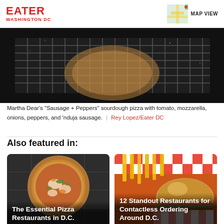EATER WASHINGTON DC | MAP VIEW
[Figure (photo): Close-up overhead shot of a sourdough pizza on a wire rack with dark background, showing toppings including sausage and peppers]
Martha Dear's "Sausage + Peppers" sourdough pizza with tomato, mozzarella, onions, peppers, and 'nduja sausage. | Rey Lopez/Eater DC
Also featured in:
[Figure (photo): The Essential Pizza Restaurants in D.C. — overhead shot of a round pizza with colorful toppings on a dark tiled surface]
[Figure (photo): 12 Standout Restaurants for Contactless Ordering Around D.C. — close-up of a burger in red-and-white checkered paper wrapper with fries]